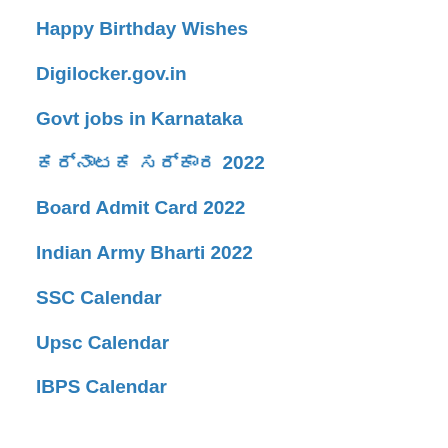Happy Birthday Wishes
Digilocker.gov.in
Govt jobs in Karnataka
ಕರ್ನಾಟಕ ಸರ್ಕಾರ 2022
Board Admit Card 2022
Indian Army Bharti 2022
SSC Calendar
Upsc Calendar
IBPS Calendar